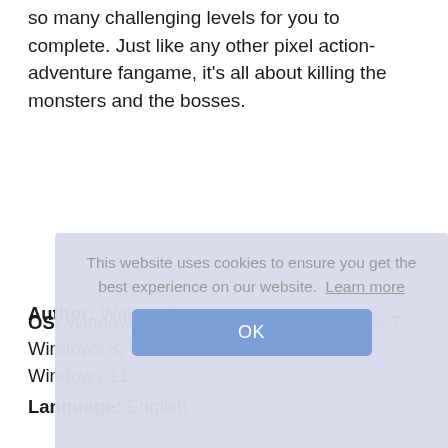so many challenging levels for you to complete. Just like any other pixel action-adventure fangame, it's all about killing the monsters and the bosses.
License: Free
Author: Woloned
OS: Windows XP, Windows Vista, Windows 7, Windows 8, Windows 8.1, Windows 10, Windows 11
Language: English
This website uses cookies to ensure you get the best experience on our website. Learn more